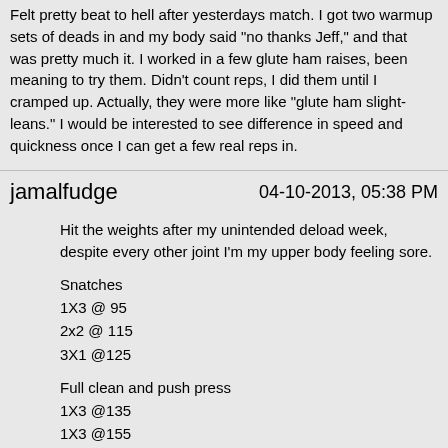Felt pretty beat to hell after yesterdays match. I got two warmup sets of deads in and my body said "no thanks Jeff," and that was pretty much it. I worked in a few glute ham raises, been meaning to try them. Didn't count reps, I did them until I cramped up. Actually, they were more like "glute ham slight-leans." I would be interested to see difference in speed and quickness once I can get a few real reps in.
jamalfudge | 04-10-2013, 05:38 PM
Hit the weights after my unintended deload week, despite every other joint I'm my upper body feeling sore.
Snatches
1X3 @ 95
2x2 @ 115
3X1 @125
Full clean and push press
1X3 @135
1X3 @155
1X2 @175
2X1 @185